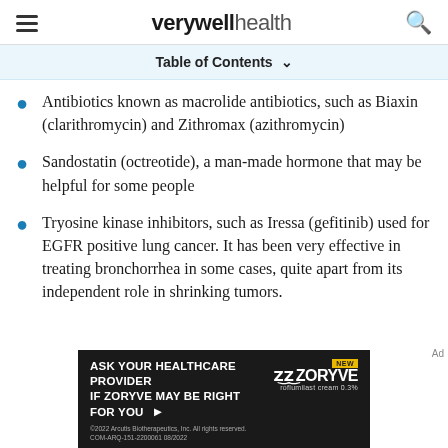verywell health
Table of Contents
Antibiotics known as macrolide antibiotics, such as Biaxin (clarithromycin) and Zithromax (azithromycin)
Sandostatin (octreotide), a man-made hormone that may be helpful for some people
Tryosine kinase inhibitors, such as Iressa (gefitinib) used for EGFR positive lung cancer. It has been very effective in treating bronchorrhea in some cases, quite apart from its independent role in shrinking tumors.
[Figure (other): Advertisement: Ask your healthcare provider if ZORYVE may be right for you. Zoryve roflumilast cream 0.3%]